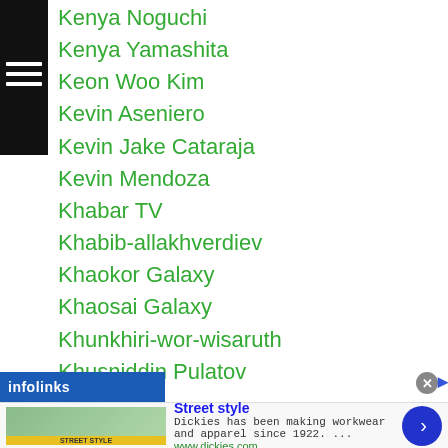Kenya Noguchi
Kenya Yamashita
Keon Woo Kim
Kevin Aseniero
Kevin Jake Cataraja
Kevin Mendoza
Khabar TV
Khabib-allakhverdiev
Khaokor Galaxy
Khaosai Galaxy
Khunkhiri-wor-wisaruth
Khusniddin Pulatov
Kiatkreerin
Ki Chang Go
Ki Hong Min
...artinez
[Figure (screenshot): Infolinks ad overlay showing a Dickies Street Style advertisement with image, title, description and arrow button]